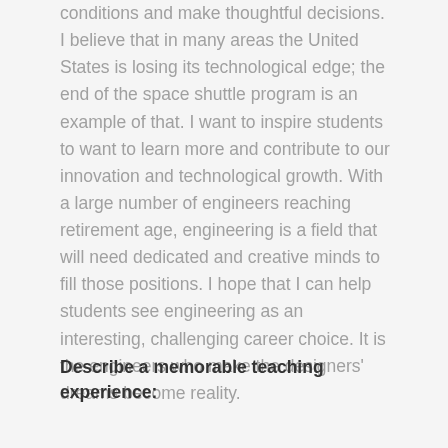conditions and make thoughtful decisions. I believe that in many areas the United States is losing its technological edge; the end of the space shuttle program is an example of that. I want to inspire students to want to learn more and contribute to our innovation and technological growth. With a large number of engineers reaching retirement age, engineering is a field that will need dedicated and creative minds to fill those positions. I hope that I can help students see engineering as an interesting, challenging career choice. It is the engineers who make the designers' dreams become reality.
Describe a memorable teaching experience: